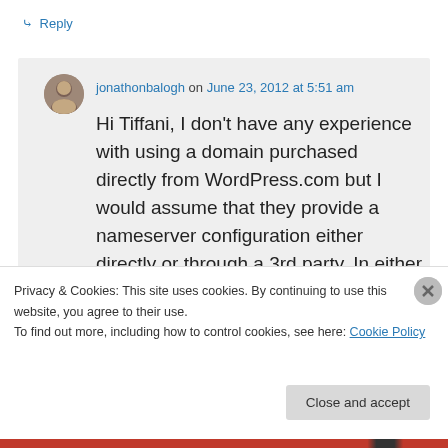↳ Reply
[Figure (photo): Small circular avatar photo of a person (jonathonbalogh)]
jonathonbalogh on June 23, 2012 at 5:51 am
Hi Tiffani, I don't have any experience with using a domain purchased directly from WordPress.com but I would assume that they provide a nameserver configuration either directly or through a 3rd party. In either case, you would adjust this
Privacy & Cookies: This site uses cookies. By continuing to use this website, you agree to their use.
To find out more, including how to control cookies, see here: Cookie Policy
Close and accept